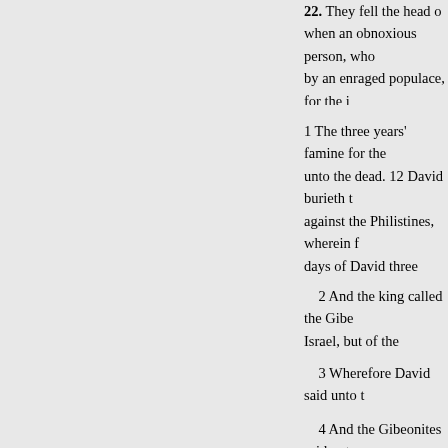They fell the head of when an obnoxious person, who by an enraged populace, for the many instances occur in Turkish from the seraglio at Constantinop
1 The three years' famine for the unto the dead. 12 David burieth t against the Philistines, wherein f days of David three years, year a for Saul, and for his bloody hous
2 And the king called the Gibe Israel, but of the remnant of the A to slay them in his zeal to the chi
3 Wherefore David said unto t atonement, that ye may bless the
4 And the Gibeonites said unto for us shalt thou kill any man in
5 And they answered the king,
that consumed us, and that 'devis maining in any 6 Let seven men in Gibeah of Saul, whom the L O